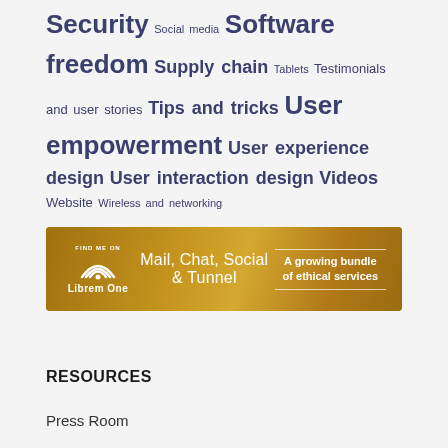Security Social media Software freedom Supply chain Tablets Testimonials and user stories Tips and tricks User empowerment User experience design User interaction design Videos Website Wireless and networking
[Figure (other): Librem One banner advertisement with golden/yellow gradient background. Shows 'FIND ME ON' text with a rainbow/arch logo, 'Librem One' branding, center text 'Mail, Chat, Social & Tunnel', and right side text 'A growing bundle of ethical services' with decorative lines above and below.]
RESOURCES
Press Room